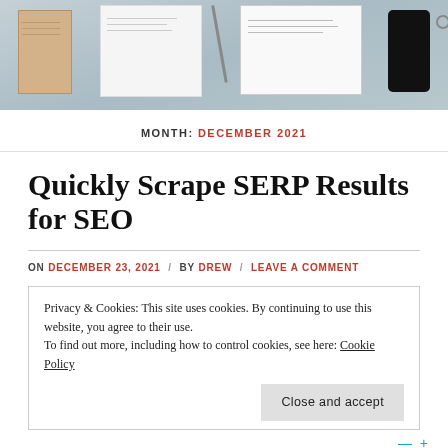[Figure (photo): Top-down photo of a desk with notebooks, a pen, and a smartphone on a grey-blue surface]
MONTH: DECEMBER 2021
Quickly Scrape SERP Results for SEO
ON DECEMBER 23, 2021 / BY DREW / LEAVE A COMMENT
Privacy & Cookies: This site uses cookies. By continuing to use this website, you agree to their use.
To find out more, including how to control cookies, see here: Cookie Policy
Close and accept